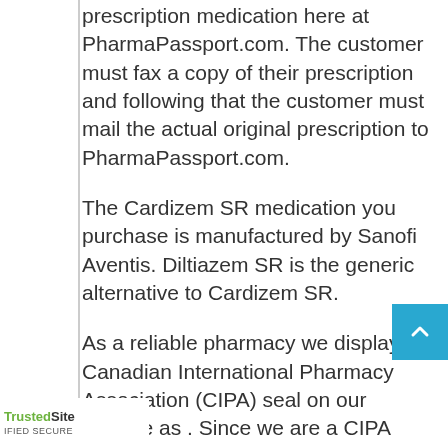prescription medication here at PharmaPassport.com. The customer must fax a copy of their prescription and following that the customer must mail the actual original prescription to PharmaPassport.com.
The Cardizem SR medication you purchase is manufactured by Sanofi Aventis. Diltiazem SR is the generic alternative to Cardizem SR.
As a reliable pharmacy we display our Canadian International Pharmacy Association (CIPA) seal on our website as . Since we are a CIPA certified pharmacy we follow the same standards as other reputable pharmacies such as your local pharmacy. PharmaPassport.com